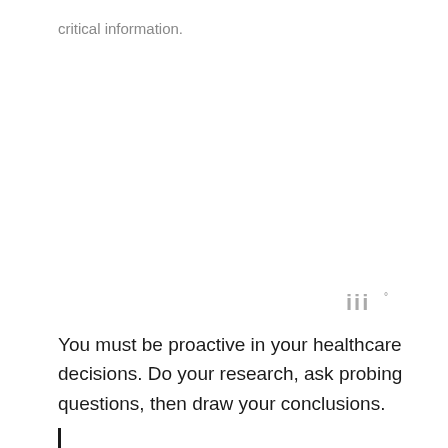critical information.
[Figure (logo): Small watermark logo resembling 'iii' or stylized bars with a degree symbol, in gray]
You must be proactive in your healthcare decisions. Do your research, ask probing questions, then draw your conclusions.
|